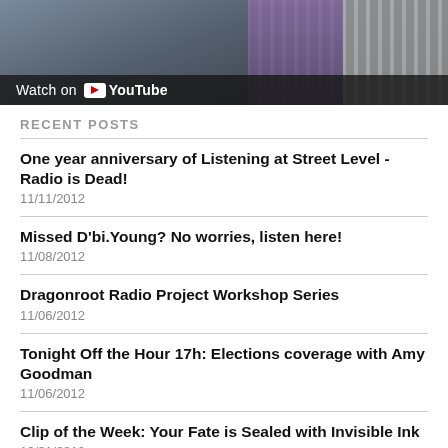[Figure (screenshot): YouTube video thumbnail showing a dark/moody scene with record collection in background and a 'Watch on YouTube' overlay bar at the bottom.]
RECENT POSTS
One year anniversary of Listening at Street Level - Radio is Dead!
11/11/2012
Missed D'bi.Young? No worries, listen here!
11/08/2012
Dragonroot Radio Project Workshop Series
11/06/2012
Tonight Off the Hour 17h: Elections coverage with Amy Goodman
11/06/2012
Clip of the Week: Your Fate is Sealed with Invisible Ink
10/31/2012
Clip of the Week: Orkestar Kriminal belting it out on